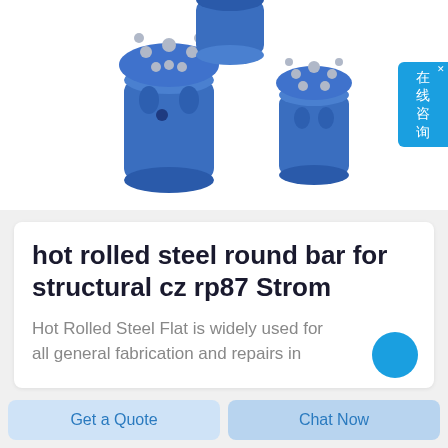[Figure (photo): Three blue cylindrical drill bits with carbide button inserts on white background]
hot rolled steel round bar for structural cz rp87 Strom
Hot Rolled Steel Flat is widely used for all general fabrication and repairs in
Get a Quote
Chat Now